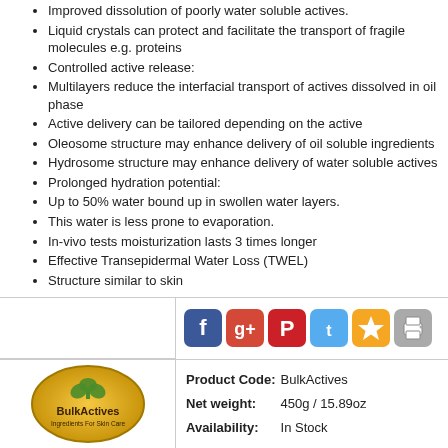Improved dissolution of poorly water soluble actives.
Liquid crystals can protect and facilitate the transport of fragile molecules e.g. proteins
Controlled active release:
Multilayers reduce the interfacial transport of actives dissolved in oil phase
Active delivery can be tailored depending on the active
Oleosome structure may enhance delivery of oil soluble ingredients
Hydrosome structure may enhance delivery of water soluble actives
Prolonged hydration potential:
Up to 50% water bound up in swollen water layers.
This water is less prone to evaporation.
In-vivo tests moisturization lasts 3 times longer
Effective Transepidermal Water Loss (TWEL)
Structure similar to skin
To thicken these creams after adding actives dissolved in waters add a few drops of Gelmaker Ultra (polymer emulsifier)
[Figure (logo): BulkActives logo - circular gold badge with green shamrock and text 'BulkActives Ingredients For Skin Care']
[Figure (infographic): Social media icons: Facebook (blue), Google+ (red), Pinterest (red), Twitter (blue), Favorites (gold star), Print (grey)]
| Product Code: | BulkActives |
| Net weight: | 450g / 15.89oz |
| Availability: | In Stock |